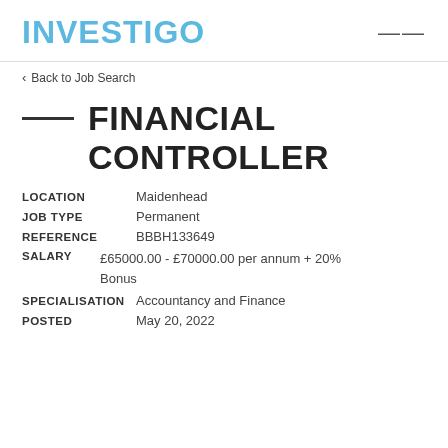INVESTIGO
< Back to Job Search
FINANCIAL CONTROLLER
LOCATION   Maidenhead
JOB TYPE   Permanent
REFERENCE   BBBH133649
SALARY   £65000.00 - £70000.00 per annum + 20% Bonus
SPECIALISATION   Accountancy and Finance
POSTED   May 20, 2022